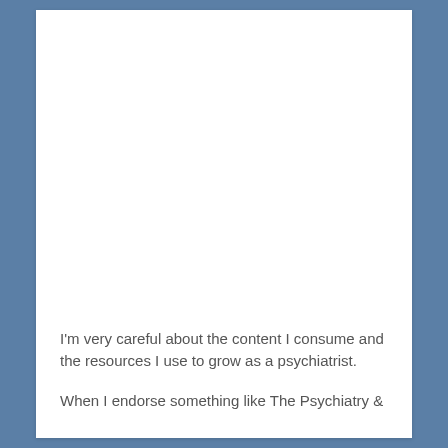I'm very careful about the content I consume and the resources I use to grow as a psychiatrist.
When I endorse something like The Psychiatry &